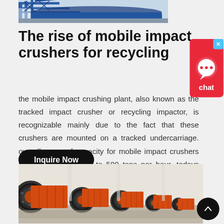[Figure (photo): Industrial machinery with blue steel structure and conveyor at a processing plant, cropped at top]
The rise of mobile impact crushers for recycling
[Figure (other): Red chat widget with speech bubble icon and X close button, labeled 'chat']
the mobile impact crushing plant, also known as the tracked impact crusher or recycling impactor, is recognizable mainly due to the fact that these crushers are mounted on a tracked undercarriage. overall range of capacity for mobile impact crushers is roughly about 100 to 500 tons per hour. todays mobile impact crushers are especially ideal
Inquire Now
[Figure (photo): Large orange industrial ball mill drums with gear rings at a factory, multiple units in a row]